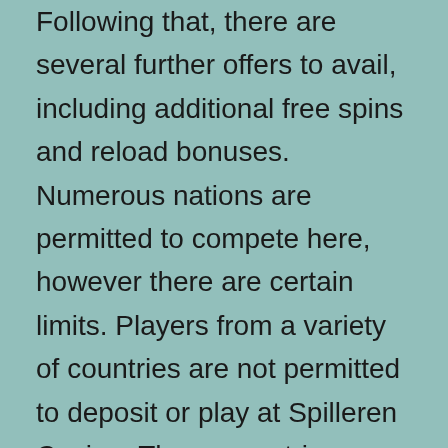Following that, there are several further offers to avail, including additional free spins and reload bonuses. Numerous nations are permitted to compete here, however there are certain limits. Players from a variety of countries are not permitted to deposit or play at Spilleren Casino. These countries include Canada, France, Italy, the United Kingdom, and the United States of America. The site is available in the following languages: English, German, Finnish, Norwegian, and Swedish.
A Stylish €900 Welcome Bonus Package Along